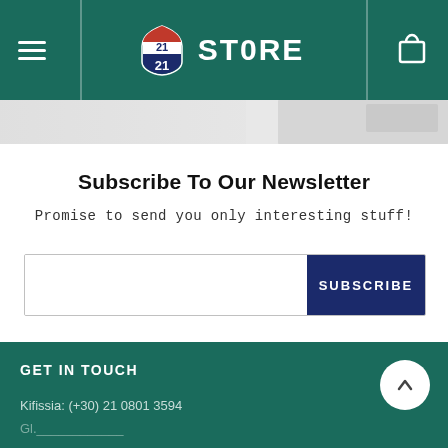21 ST0RE — navigation header with hamburger menu, logo, and cart icon
[Figure (screenshot): Partial product/banner image strip below header]
Subscribe To Our Newsletter
Promise to send you only interesting stuff!
[Figure (other): Email subscription form with input field and SUBSCRIBE button]
GET IN TOUCH
Kifissia: (+30) 21 0801 3594